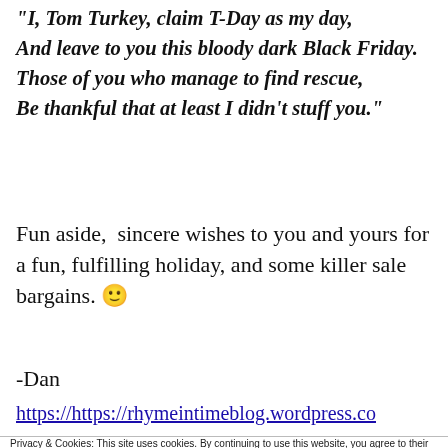"I, Tom Turkey, claim T-Day as my day, And leave to you this bloody dark Black Friday. Those of you who manage to find rescue, Be thankful that at least I didn't stuff you."
Fun aside,  sincere wishes to you and yours for a fun, fulfilling holiday, and some killer sale bargains. 🙂
-Dan
https://https://rhymeintimeblog.wordpress.co
Privacy & Cookies: This site uses cookies. By continuing to use this website, you agree to their use.
To find out more, including how to control cookies, see here: Cookie Policy